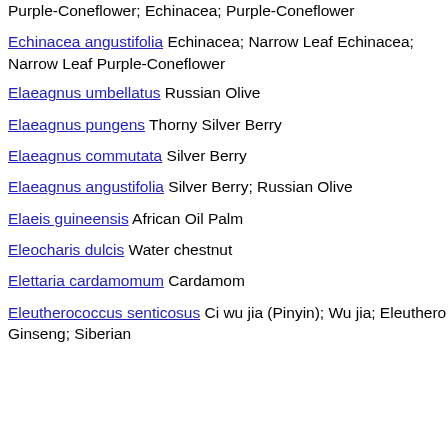Purple-Coneflower; Echinacea; Purple-Coneflower  2
Echinacea angustifolia Echinacea; Narrow Leaf Echinacea; Narrow Leaf Purple-Coneflower  3
Elaeagnus umbellatus Russian Olive  1
Elaeagnus pungens Thorny Silver Berry  2
Elaeagnus commutata Silver Berry  1
Elaeagnus angustifolia Silver Berry; Russian Olive  4
Elaeis guineensis African Oil Palm  1
Eleocharis dulcis Water chestnut  1
Elettaria cardamomum Cardamom  2
Eleutherococcus senticosus Ci wu jia (Pinyin); Wu jia; Eleuthero Ginseng; Siberian  3